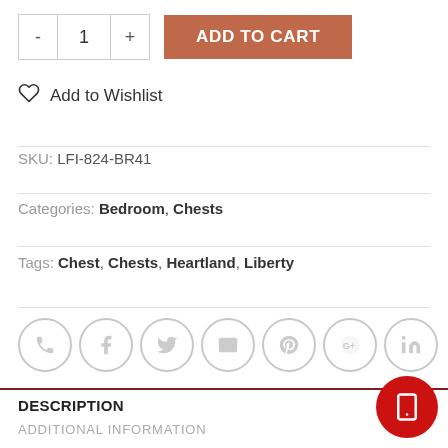[Figure (other): Add to Cart UI: quantity selector with minus, 1, plus buttons and an orange-brown ADD TO CART button]
Add to Wishlist
SKU: LFI-824-BR41
Categories: Bedroom, Chests
Tags: Chest, Chests, Heartland, Liberty
[Figure (other): Row of 7 circular social share icons: phone, Facebook, Twitter, email, Pinterest, Google+, LinkedIn]
DESCRIPTION
ADDITIONAL INFORMATION
[Figure (other): Red circular mobile/tablet button icon in bottom right corner]